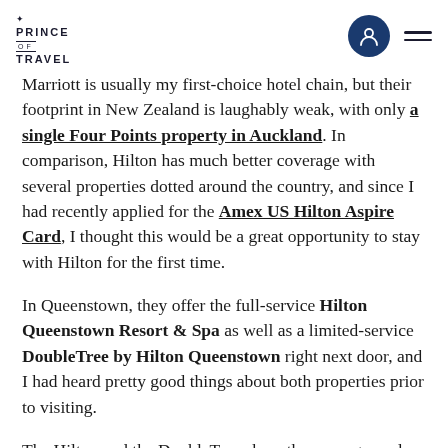PRINCE OF TRAVEL
Marriott is usually my first-choice hotel chain, but their footprint in New Zealand is laughably weak, with only a single Four Points property in Auckland. In comparison, Hilton has much better coverage with several properties dotted around the country, and since I had recently applied for the Amex US Hilton Aspire Card, I thought this would be a great opportunity to stay with Hilton for the first time.
In Queenstown, they offer the full-service Hilton Queenstown Resort & Spa as well as a limited-service DoubleTree by Hilton Queenstown right next door, and I had heard pretty good things about both properties prior to visiting.
The Hilton and the DoubleTree share the same grounds and many facilities between them, and